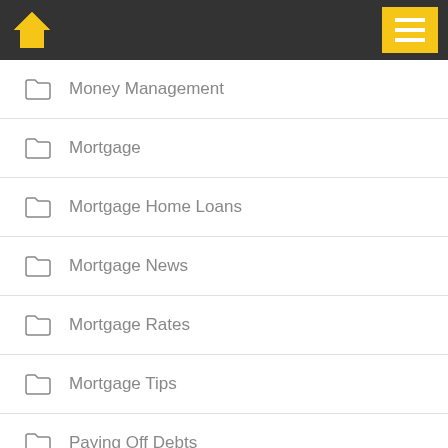[Figure (screenshot): Website header with gold house icon on dark background and gold hamburger menu button]
Money Management
Mortgage
Mortgage Home Loans
Mortgage News
Mortgage Rates
Mortgage Tips
Paying Off Debts
Personal Finance